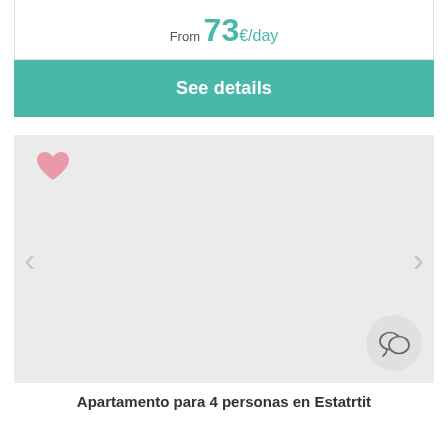From 73€/day
See details
[Figure (screenshot): Property listing card with light gray image placeholder, heart icon (favorited, pink) in top-left, left and right navigation arrows for image carousel, and a speech bubble chat icon in the bottom-right corner.]
Apartamento para 4 personas en Estatrtit